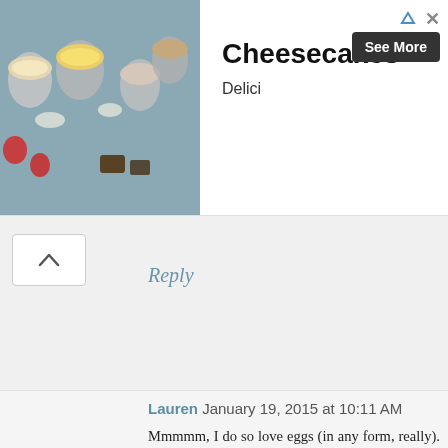[Figure (photo): Advertisement banner showing cheesecakes and desserts in jars/cups on a slate surface, with strawberries and chocolate pieces]
Cheesecakes
Delici
See More
Reply
Lauren January 19, 2015 at 10:11 AM
Mmmmm, I do so love eggs (in any form, really). I recently attempted to make scrambled eggs 'fluffier' by adding a bit of baking powder (a trick I'd read somewhere online), but I wasn't terribly impressed. These look delicious, and they're making me wish I'd made eggs instead of a smoothie for brekky. :-)
Reply